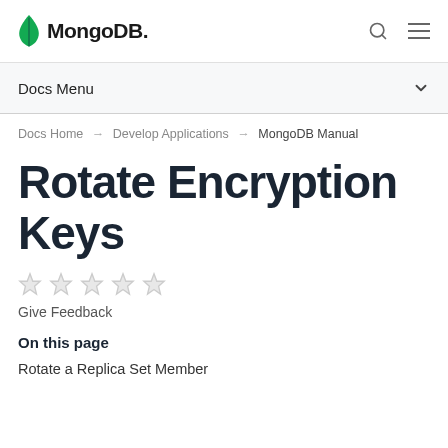MongoDB
Docs Menu
Docs Home → Develop Applications → MongoDB Manual
Rotate Encryption Keys
[Figure (other): Five empty star rating icons]
Give Feedback
On this page
Rotate a Replica Set Member